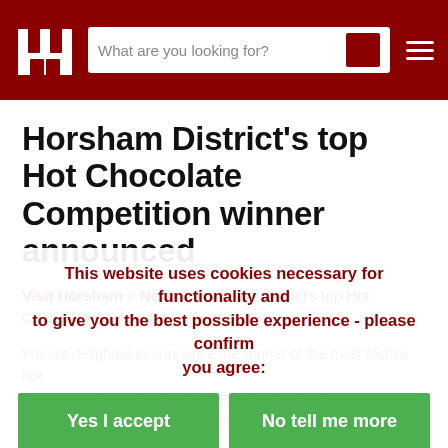Horsham District Council website header with logo, search bar, and hamburger menu
Horsham District's top Hot Chocolate Competition winner announced
Visit Horsham > News > Horsham District's top Hot Chocolate Competition winner announced
We are delighted to announce the winner of the most festive hot chocolate across Horsham District, the champion festive hot chocolate, taken from comments made on the Horsham Times. The winner is managed by CB Opticians in West Street, Horsham.
This website uses cookies necessary for functionality and to give you the best possible experience - please confirm you agree: